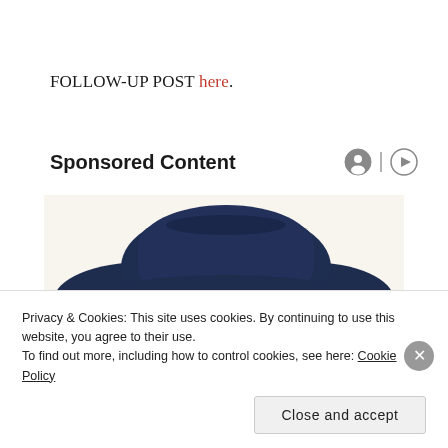FOLLOW-UP POST here.
Sponsored Content
[Figure (illustration): Quaker Oats man mascot illustration — elderly man with white curly hair, smiling, wearing a large dark navy wide-brimmed hat]
Privacy & Cookies: This site uses cookies. By continuing to use this website, you agree to their use.
To find out more, including how to control cookies, see here: Cookie Policy
Close and accept